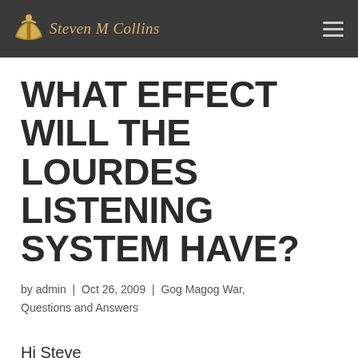[Figure (logo): Steven M Collins website header with book logo and script text on dark background]
WHAT EFFECT WILL THE LOURDES LISTENING SYSTEM HAVE?
by admin | Oct 26, 2009 | Gog Magog War, Questions and Answers
Hi Steve